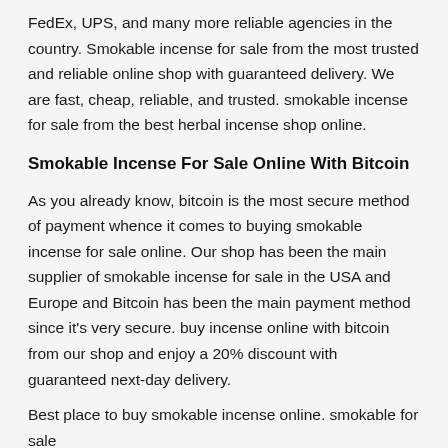FedEx, UPS, and many more reliable agencies in the country. Smokable incense for sale from the most trusted and reliable online shop with guaranteed delivery. We are fast, cheap, reliable, and trusted. smokable incense for sale from the best herbal incense shop online.
Smokable Incense For Sale Online With Bitcoin
As you already know, bitcoin is the most secure method of payment whence it comes to buying smokable incense for sale online. Our shop has been the main supplier of smokable incense for sale in the USA and Europe and Bitcoin has been the main payment method since it's very secure. buy incense online with bitcoin from our shop and enjoy a 20% discount with guaranteed next-day delivery.
Best place to buy smokable incense online. smokable for sale